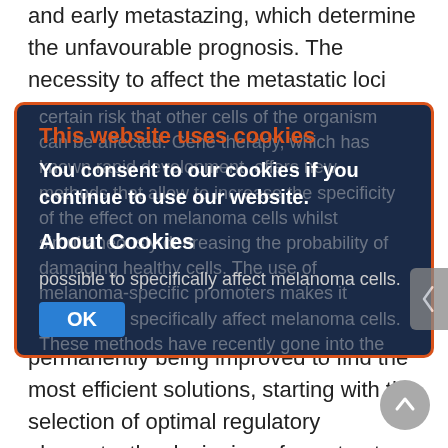and early metastazing, which determine the unfavourable prognosis. The necessity to affect the metastatic loci disseminated over the entire organism requires the systemic administration of antimelanoma agents, which involves a certain risk that other cells of the organism can be affected. Gene therapy, which has known rapid development, offers new methods that allow to increase the specificity of the effect on melanoma cells whilst simultaneously decreasing the probability of damaging healthy cells. The use of melanoma-specific promoters makes it possible to specifically affect melanoma cells. These methods have recently gone into the stage of development and are permanently being improved to find the most efficient solutions, starting with the selection of optimal regulatory elements, the designing of constructs
[Figure (screenshot): Cookie consent dialog overlay on a dark navy background with orange border. Contains title 'This website uses cookies' in orange, body text 'You consent to our cookies if you continue to use our website.' in white bold, 'About Cookies' heading in white bold, and a blue 'OK' button.]